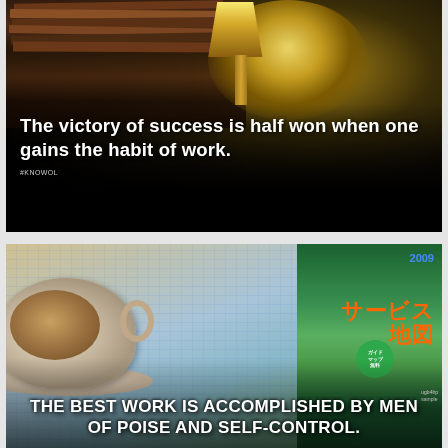[Figure (photo): Dark atmospheric photo of stacked old books and a glowing table lamp with a decorative jug or teapot in background. White bold text overlay reads: 'The victory of success is half won when one gains the habit of work.' with a small attribution '#KNOWOL'.]
[Figure (photo): Photo of a coffee cup with a map spread out and a Japanese book/travel guide visible on the right side with orange kanji text. Bold white uppercase text overlay reads: 'THE BEST WORK IS ACCOMPLISHED BY MEN OF POISE AND SELF-CONTROL.']